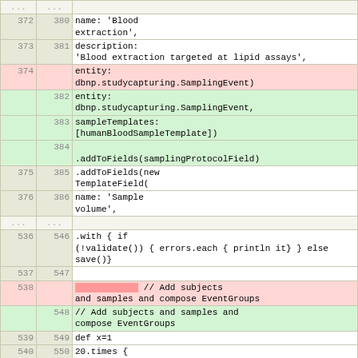|  |  | code |
| --- | --- | --- |
| ... | ... |  |
| 372 | 380 |                               name: 'Blood extraction', |
| 373 | 381 |                               description: 'Blood extraction targeted at lipid assays', |
| 374 |  |                               entity: dbnp.studycapturing.SamplingEvent) |
|  | 382 |                               entity: dbnp.studycapturing.SamplingEvent, |
|  | 383 |                               sampleTemplates: [humanBloodSampleTemplate]) |
|  | 384 |                               .addToFields(samplingProtocolField) |
| 375 | 385 |                               .addToFields(new TemplateField( |
| 376 | 386 |                               name: 'Sample volume', |
| ... | ... |  |
| 536 | 546 |                               .with { if (!validate()) { errors.each { println it} } else save()} |
| 537 | 547 |  |
| 538 |  | // Add subjects and samples and compose EventGroups |
|  | 548 |             // Add subjects and samples and compose EventGroups |
| 539 | 549 |                               def x=1 |
| 540 | 550 |                               20.times { |
| ... | ... |  |
| 640 | 650 | material: bloodTerm, |
| 641 | 651 | parentSubject: currentSubject, |
| 642 |  |  |